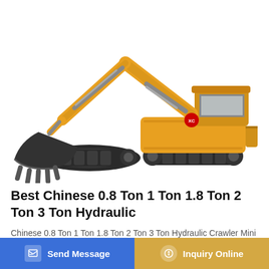[Figure (photo): Yellow Chinese hydraulic crawler excavator/mini digger on white background, with large bucket arm extended to the left and tracked undercarriage]
Best Chinese 0.8 Ton 1 Ton 1.8 Ton 2 Ton 3 Ton Hydraulic
Chinese 0.8 Ton 1 Ton 1.8 Ton 2 Ton 3 Ton Hydraulic Crawler Mini Excavator for Sale Small Micro Digger Machine 800...